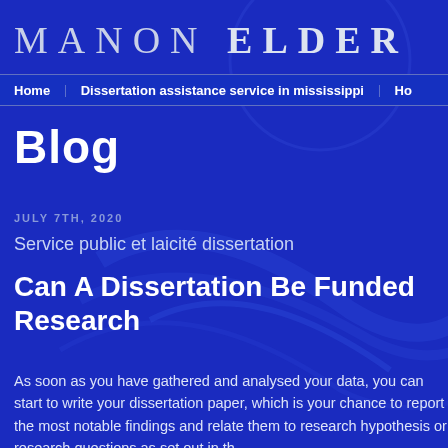MANON ELDER
Home   Dissertation assistance service in mississippi   Ho
Blog
JULY 7TH, 2020
Service public et laicité dissertation
Can A Dissertation Be Funded Research
As soon as you have gathered and analysed your data, you can start to write your dissertation paper, which is your chance to report the most notable findings and relate them to research hypothesis or research questions as set out in th